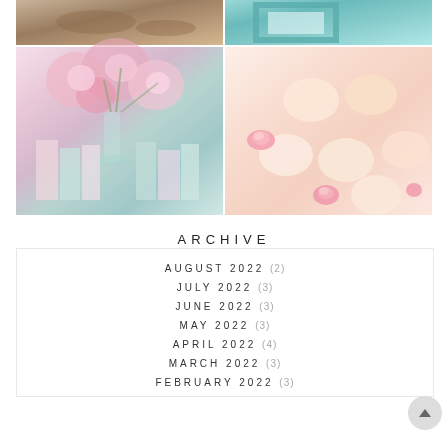[Figure (photo): Photo grid with 4 images: top-left shows wooden surface/items, top-right shows teal/mint colored frame, bottom-left shows pink peonies flowers with pastel books, bottom-right shows pastel macarons/cookies with pink frosting roses]
ARCHIVE
AUGUST 2022 (2)
JULY 2022 (3)
JUNE 2022 (3)
MAY 2022 (3)
APRIL 2022 (4)
MARCH 2022 (3)
FEBRUARY 2022 (3)